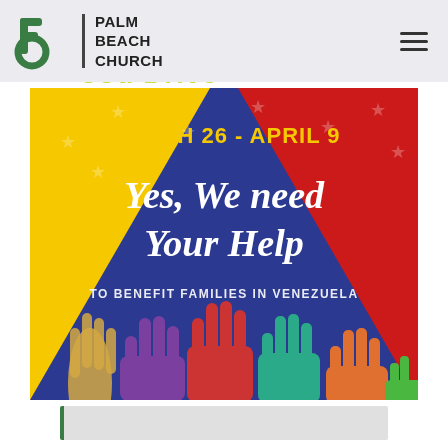Palm Beach Church
[Figure (illustration): Food Drive promotional image with colorful raised hands silhouettes on a Venezuelan flag-colored background (yellow, blue, red diagonal sections with stars). Text overlay reads 'MARCH 26 - APRIL 9', 'Yes, We need Your Help', 'TO BENEFIT FAMILIES IN VENEZUELA']
[Figure (other): Partial gray bar at the bottom of the page, suggesting more content below]